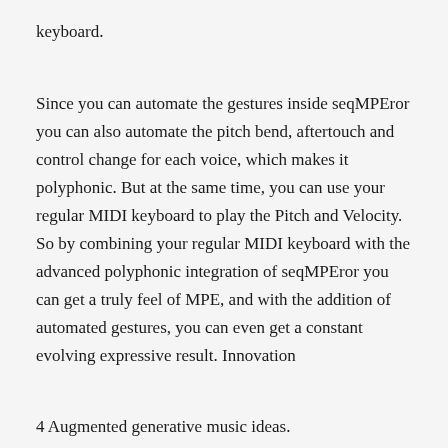keyboard.
Since you can automate the gestures inside seqMPEror you can also automate the pitch bend, aftertouch and control change for each voice, which makes it polyphonic. But at the same time, you can use your regular MIDI keyboard to play the Pitch and Velocity. So by combining your regular MIDI keyboard with the advanced polyphonic integration of seqMPEror you can get a truly feel of MPE, and with the addition of automated gestures, you can even get a constant evolving expressive result. Innovation
4 Augmented generative music ideas.
Since you can record your MIDI or MPE device data into seqMPEror, you can then transform recorded material in real-time and add variation to your initial idea with just a simple mouse